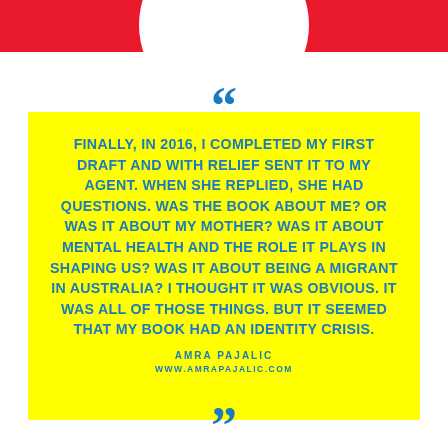[Figure (illustration): Red horizontal bar at top with a white circle partially visible (profile photo cropped), decorative header element]
FINALLY, IN 2016, I COMPLETED MY FIRST DRAFT AND WITH RELIEF SENT IT TO MY AGENT. WHEN SHE REPLIED, SHE HAD QUESTIONS. WAS THE BOOK ABOUT ME? OR WAS IT ABOUT MY MOTHER? WAS IT ABOUT MENTAL HEALTH AND THE ROLE IT PLAYS IN SHAPING US? WAS IT ABOUT BEING A MIGRANT IN AUSTRALIA? I THOUGHT IT WAS OBVIOUS. IT WAS ALL OF THOSE THINGS. BUT IT SEEMED THAT MY BOOK HAD AN IDENTITY CRISIS.
AMRA PAJALIC
WWW.AMRAPAJALIC.COM